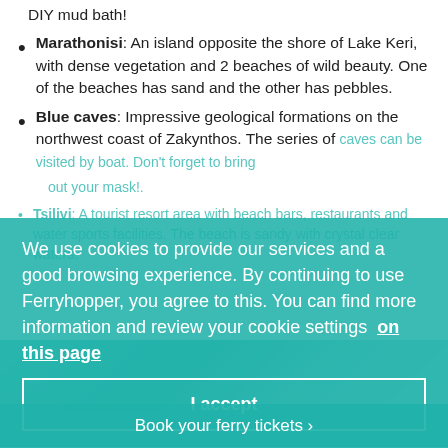DIY mud bath!
Marathonisi: An island opposite the shore of Lake Keri, with dense vegetation and 2 beaches of wild beauty. One of the beaches has sand and the other has pebbles.
Blue caves: Impressive geological formations on the northwest coast of Zakynthos. The series of caves can be visited by boat. Don't forget to bring your mask!.
Tsilivi: A tourist resort area with beach bars, restaurants and water sports facilities. The beach is sandy with crystal clear waters.
We use cookies to provide our services and a good browsing experience. By continuing to use Ferryhopper, you agree to this. You can find more information and review your cookie settings on this page
I accept
Book your ferry tickets >